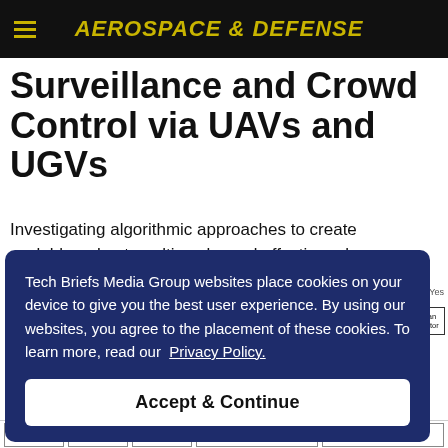AEROSPACE & DEFENSE
Surveillance and Crowd Control via UAVs and UGVs
Investigating algorithmic approaches to create scalable, robust, multi-scale, and effective urban surveillance and crowd control strategies using UAVs and UGVs.
Tech Briefs Media Group websites place cookies on your device to give you the best user experience. By using our websites, you agree to the placement of these cookies. To learn more, read our Privacy Policy.
[Figure (flowchart): Partial flowchart diagram showing boxes including 'Human Operator' and connecting arrows, partially obscured by cookie consent overlay. Bottom strip shows boxes labeled with diagram sections including 'Received Sensory Data' and 'Transmitted Control Commands'.]